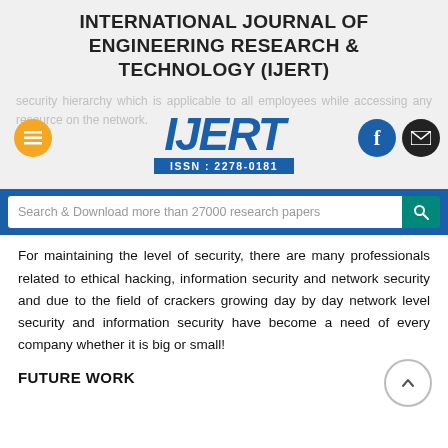INTERNATIONAL JOURNAL OF ENGINEERING RESEARCH & TECHNOLOGY (IJERT)
[Figure (logo): IJERT logo with ISSN: 2278-0181, hamburger menu icon (orange), Facebook icon (blue), mail icon (black). Ghost text in background about security hierarchy for employees on the network.]
Search & Download more than 27000 research papers
For maintaining the level of security, there are many professionals related to ethical hacking, information security and network security and due to the field of crackers growing day by day network level security and information security have become a need of every company whether it is big or small!
FUTURE WORK